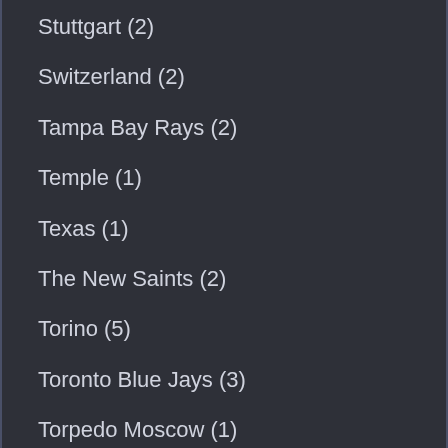Stuttgart (2)
Switzerland (2)
Tampa Bay Rays (2)
Temple (1)
Texas (1)
The New Saints (2)
Torino (5)
Toronto Blue Jays (3)
Torpedo Moscow (1)
Tottenham (2)
Trevin Giles (2)
Tulane (1)
Turkey (2)
UFC Fight Island (2)